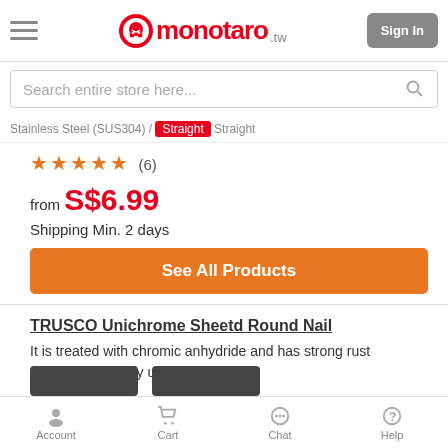monotaro.tw | Sign In
Search entire store here...
Stainless Steel (SUS304) / Straight
★★★★★ (6)
from S$6.99
Shipping Min. 2 days
See All Products
TRUSCO Unichrome Sheetd Round Nail
It is treated with chromic anhydride and has strong rust prevention. Mainly used for wood.
Account | Cart | Chat | Help